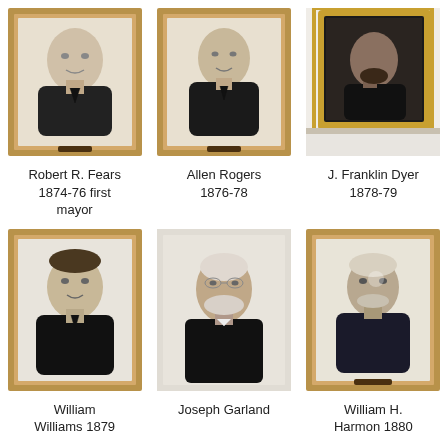[Figure (photo): Framed portrait photograph of Robert R. Fears in wooden frame]
[Figure (photo): Framed portrait photograph of Allen Rogers in wooden frame]
[Figure (photo): Framed portrait photograph of J. Franklin Dyer in ornate gold frame on wall]
Robert R. Fears
1874-76 first
mayor
Allen Rogers
1876-78
J. Franklin Dyer
1878-79
[Figure (photo): Framed portrait of William Williams in wooden frame]
[Figure (photo): Framed portrait of Joseph Garland]
[Figure (photo): Framed portrait of William H. in wooden frame]
William
Williams 1879
Joseph Garland
William H.
Harmon 1880